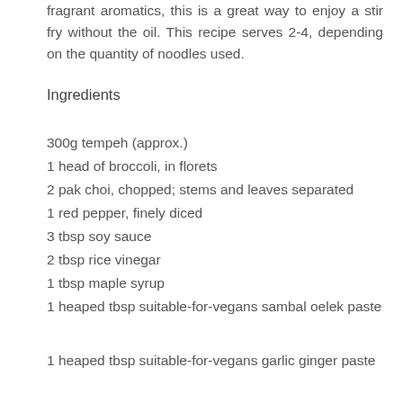fragrant aromatics, this is a great way to enjoy a stir fry without the oil. This recipe serves 2-4, depending on the quantity of noodles used.
Ingredients
300g tempeh (approx.)
1 head of broccoli, in florets
2 pak choi, chopped; stems and leaves separated
1 red pepper, finely diced
3 tbsp soy sauce
2 tbsp rice vinegar
1 tbsp maple syrup
1 heaped tbsp suitable-for-vegans sambal oelek paste
1 heaped tbsp suitable-for-vegans garlic ginger paste